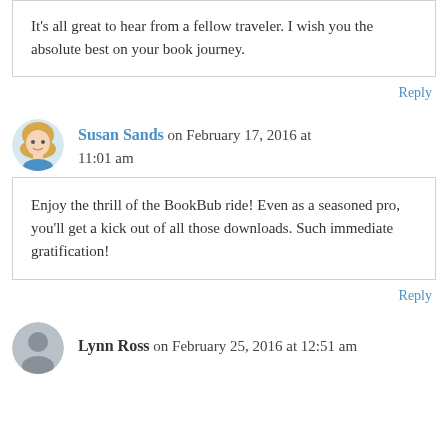It's all great to hear from a fellow traveler. I wish you the absolute best on your book journey.
Reply
Susan Sands on February 17, 2016 at 11:01 am
Enjoy the thrill of the BookBub ride! Even as a seasoned pro, you'll get a kick out of all those downloads. Such immediate gratification!
Reply
Lynn Ross on February 25, 2016 at 12:51 am